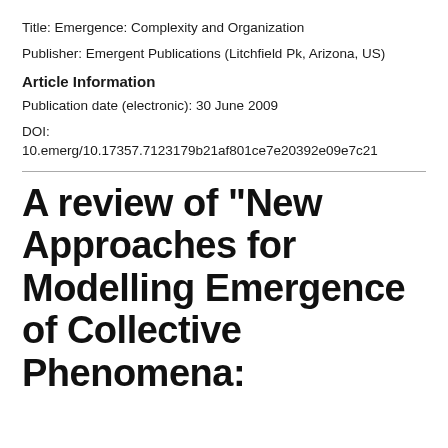Title: Emergence: Complexity and Organization
Publisher: Emergent Publications (Litchfield Pk, Arizona, US)
Article Information
Publication date (electronic): 30 June 2009
DOI:
10.emerg/10.17357.7123179b21af801ce7e20392e09e7c21
A review of "New Approaches for Modelling Emergence of Collective Phenomena: